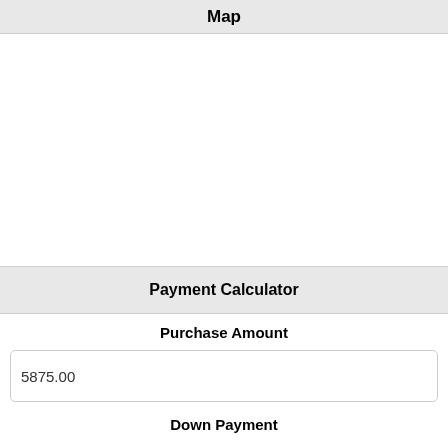Map
[Figure (map): Empty white map area placeholder]
Payment Calculator
Purchase Amount
5875.00
Down Payment